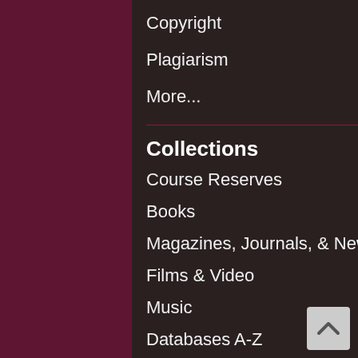Copyright
Plagiarism
More...
Collections
Course Reserves
Books
Magazines, Journals, & News (Periodicals)
Films & Video
Music
Databases A-Z
Archives